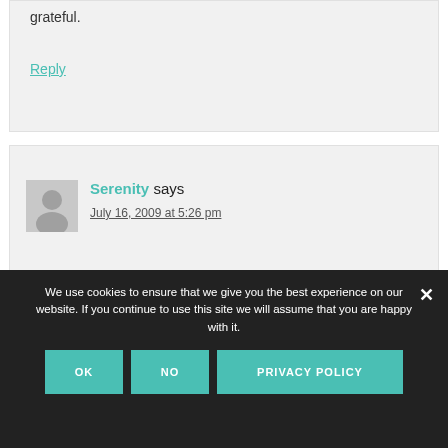grateful.
Reply
Serenity says
July 16, 2009 at 5:26 pm
We use cookies to ensure that we give you the best experience on our website. If you continue to use this site we will assume that you are happy with it.
OK
NO
PRIVACY POLICY